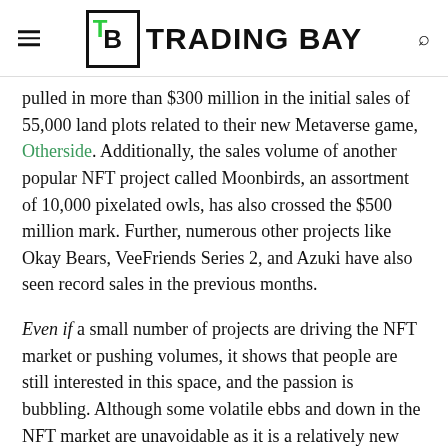TRADING BAY
pulled in more than $300 million in the initial sales of 55,000 land plots related to their new Metaverse game, Otherside. Additionally, the sales volume of another popular NFT project called Moonbirds, an assortment of 10,000 pixelated owls, has also crossed the $500 million mark. Further, numerous other projects like Okay Bears, VeeFriends Series 2, and Azuki have also seen record sales in the previous months.
Even if a small number of projects are driving the NFT market or pushing volumes, it shows that people are still interested in this space, and the passion is bubbling. Although some volatile ebbs and down in the NFT market are unavoidable as it is a relatively new asset class, the market is not dying. It is here to stay, at least for now, similar to